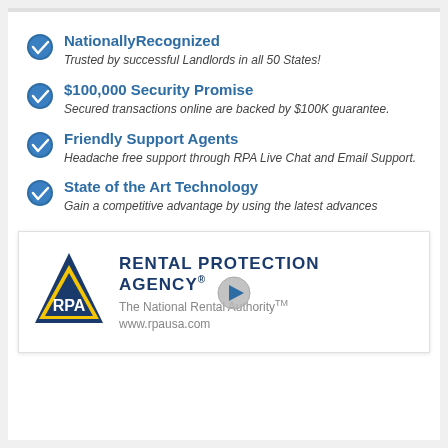Nationally Recognized — Trusted by successful Landlords in all 50 States!
$100,000 Security Promise — Secured transactions online are backed by $100K guarantee.
Friendly Support Agents — Headache free support through RPA Live Chat and Email Support.
State of the Art Technology — Gain a competitive advantage by using the latest advances
[Figure (logo): Rental Protection Agency logo with RPA triangle symbol and text 'The National Rental Authority™ www.rpausa.com' with video play button overlay]